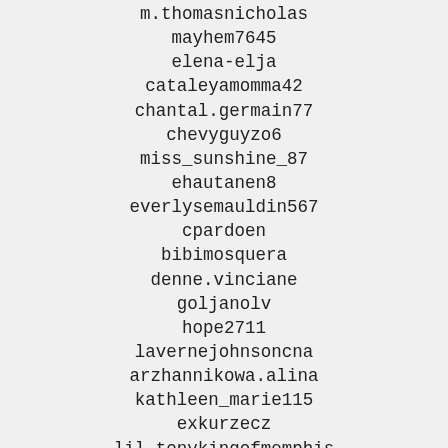m.thomasnicholas
mayhem7645
elena-elja
cataleyamomma42
chantal.germain77
chevyguyzo6
miss_sunshine_87
ehautanen8
everlysemauldin567
cpardoen
bibimosquera
denne.vinciane
goljanolv
hope2711
lavernejohnsoncna
arzhannikowa.alina
kathleen_marie115
exkurzecz
lil_tonykingofmemphis
jruss372
hrinsche_19
guntijahnavi
anastasia1211av
hells_caretaker